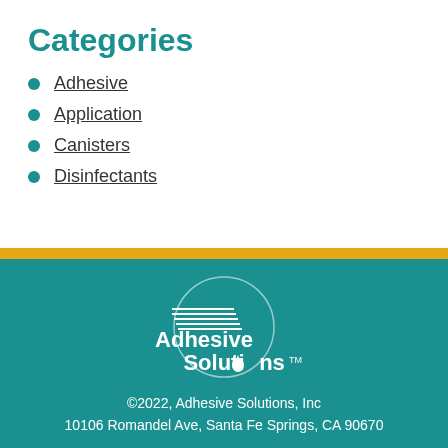Categories
Adhesive
Application
Canisters
Disinfectants
[Figure (logo): Adhesive Solutions logo — white circular logo with horizontal lines and a drop, text reads 'Adhesive Solutions TM']
©2022, Adhesive Solutions, Inc
10106 Romandel Ave, Santa Fe Springs, CA 90670